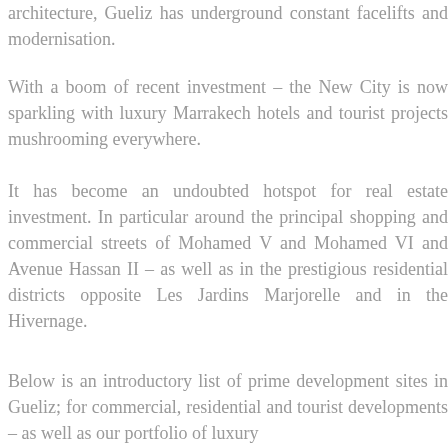architecture, Gueliz has underground constant facelifts and modernisation.
With a boom of recent investment – the New City is now sparkling with luxury Marrakech hotels and tourist projects mushrooming everywhere.
It has become an undoubted hotspot for real estate investment. In particular around the principal shopping and commercial streets of Mohamed V and Mohamed VI and Avenue Hassan II – as well as in the prestigious residential districts opposite Les Jardins Marjorelle and in the Hivernage.
Below is an introductory list of prime development sites in Gueliz; for commercial, residential and tourist developments – as well as our portfolio of luxury